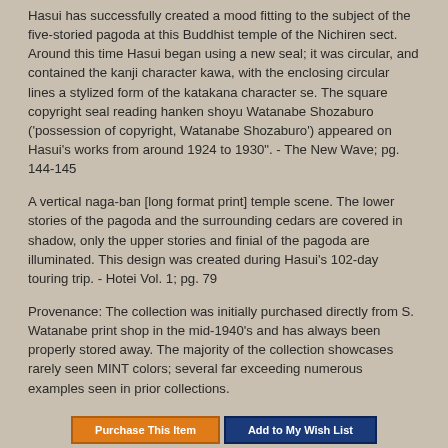Hasui has successfully created a mood fitting to the subject of the five-storied pagoda at this Buddhist temple of the Nichiren sect. Around this time Hasui began using a new seal; it was circular, and contained the kanji character kawa, with the enclosing circular lines a stylized form of the katakana character se. The square copyright seal reading hanken shoyu Watanabe Shozaburo ('possession of copyright, Watanabe Shozaburo') appeared on Hasui's works from around 1924 to 1930". - The New Wave; pg. 144-145
A vertical naga-ban [long format print] temple scene. The lower stories of the pagoda and the surrounding cedars are covered in shadow, only the upper stories and finial of the pagoda are illuminated. This design was created during Hasui's 102-day touring trip. - Hotei Vol. 1; pg. 79
Provenance: The collection was initially purchased directly from S. Watanabe print shop in the mid-1940's and has always been properly stored away. The majority of the collection showcases rarely seen MINT colors; several far exceeding numerous examples seen in prior collections.